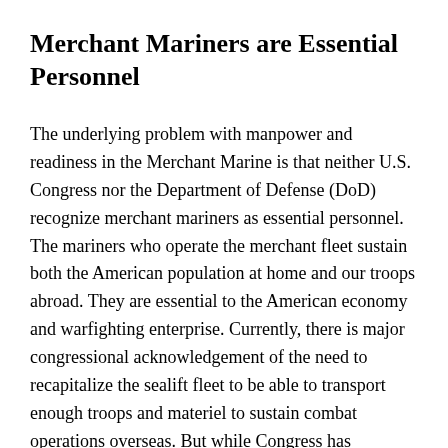Merchant Mariners are Essential Personnel
The underlying problem with manpower and readiness in the Merchant Marine is that neither U.S. Congress nor the Department of Defense (DoD) recognize merchant mariners as essential personnel. The mariners who operate the merchant fleet sustain both the American population at home and our troops abroad. They are essential to the American economy and warfighting enterprise. Currently, there is major congressional acknowledgement of the need to recapitalize the sealift fleet to be able to transport enough troops and materiel to sustain combat operations overseas. But while Congress has allocated money to buy used ships and build new